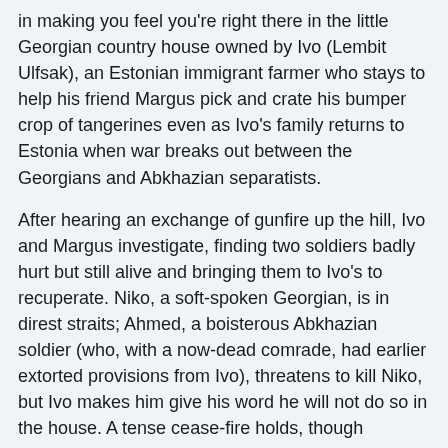in making you feel you're right there in the little Georgian country house owned by Ivo (Lembit Ulfsak), an Estonian immigrant farmer who stays to help his friend Margus pick and crate his bumper crop of tangerines even as Ivo's family returns to Estonia when war breaks out between the Georgians and Abkhazian separatists.
After hearing an exchange of gunfire up the hill, Ivo and Margus investigate, finding two soldiers badly hurt but still alive and bringing them to Ivo's to recuperate. Niko, a soft-spoken Georgian, is in direst straits; Ahmed, a boisterous Abkhazian soldier (who, with a now-dead comrade, had earlier extorted provisions from Ivo), threatens to kill Niko, but Ivo makes him give his word he will not do so in the house. A tense cease-fire holds, though epithets are exchanged and musical tastes excoriated. At one point, a passing troop of Abkhazians conducts an impromptu inspection, requiring Niko to remain mute and pass as Ahmed's fallen friend Ibrahim. As the days pass - with no sign of the thirty men a contact in Tbilisi had pledged Ivo to help with the tangerine harvest - relations between Ahmed and Niko thaw a bit too quickly for credulity, and writer-